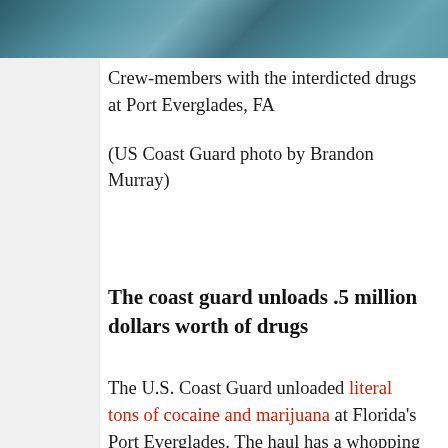[Figure (photo): Photo of crew-members with interdicted drugs at Port Everglades, FA]
Crew-members with the interdicted drugs at Port Everglades, FA

(US Coast Guard photo by Brandon Murray)
The coast guard unloads .5 million dollars worth of drugs
The U.S. Coast Guard unloaded literal tons of cocaine and marijuana at Florida's Port Everglades. The haul has a whopping .5 million dollar estimated street value (also known as “the weekly budget for Charlie Sheen”). The d...